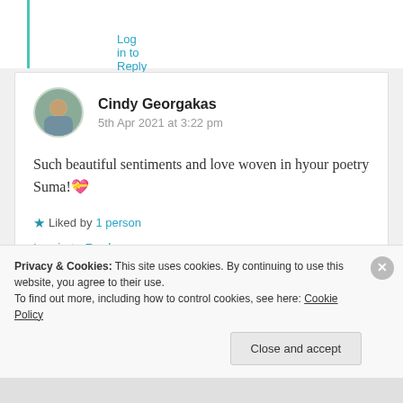Log in to Reply
Cindy Georgakas
5th Apr 2021 at 3:22 pm
Such beautiful sentiments and love woven in hyour poetry Suma! 💝
★ Liked by 1 person
Log in to Reply
Privacy & Cookies: This site uses cookies. By continuing to use this website, you agree to their use.
To find out more, including how to control cookies, see here: Cookie Policy
Close and accept